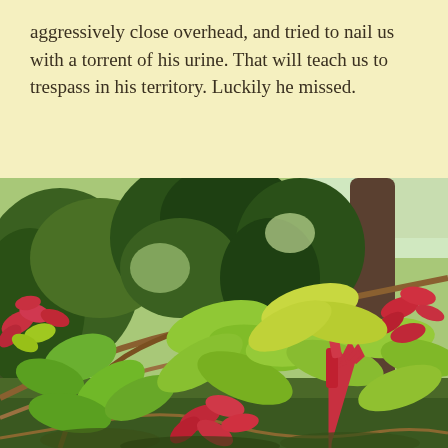aggressively close overhead, and tried to nail us with a torrent of his urine. That will teach us to trespass in his territory. Luckily he missed.
[Figure (photo): A lush tropical forest scene with green foliage, large-leafed plants with red and pink bracts resembling poinsettias in the foreground, and dense trees in the background.]